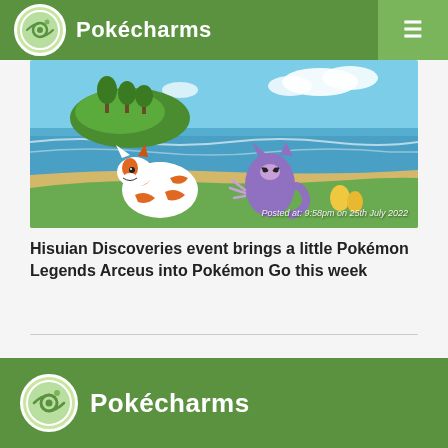Pokécharms
[Figure (screenshot): Beach scene with Hisuian Arcanine and Sneasler Pokémon from Pokémon GO, with timestamp overlay reading 'Posted at: 9:58pm on 25th July 2022']
Hisuian Discoveries event brings a little Pokémon Legends Arceus into Pokémon Go this week
Pokécharms